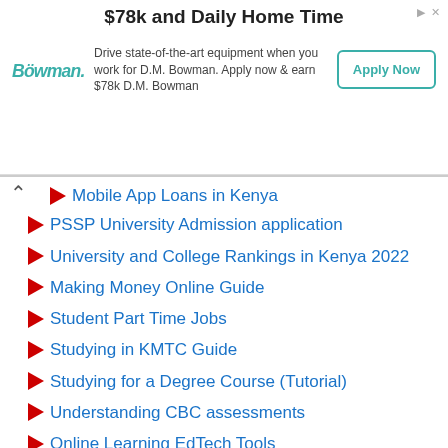[Figure (other): Advertisement banner for D.M. Bowman trucking jobs. Headline: '$78k and Daily Home Time'. Body: 'Drive state-of-the-art equipment when you work for D.M. Bowman. Apply now & earn $78k D.M. Bowman'. Button: 'Apply Now'. Logo: Bowman brand logo.]
Mobile App Loans in Kenya
PSSP University Admission application
University and College Rankings in Kenya 2022
Making Money Online Guide
Student Part Time Jobs
Studying in KMTC Guide
Studying for a Degree Course (Tutorial)
Understanding CBC assessments
Online Learning EdTech Tools
Driving School Notes and test preparation
Industrial attachment Logbook filling
House Plans in Kenya